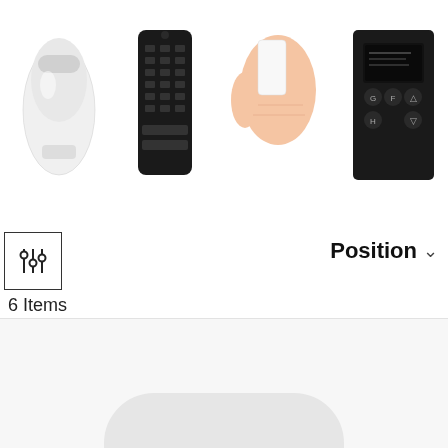[Figure (screenshot): Row of four product images: white smart plug/adapter, black remote control/keyboard, hand holding a white card/fob, black wall control panel with display]
[Figure (screenshot): Filter icon button (sliders icon) in bordered square box]
6 Items
Position
[Figure (screenshot): Lower portion of page showing gray product listing rows and a white rounded-top product shape at the bottom]